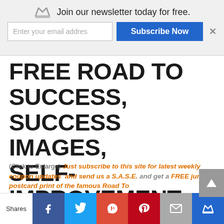[Figure (screenshot): Newsletter subscription bar with crown logo, email input field, Subscribe Now button, and close X button]
FREE ROAD TO SUCCESS, SUCCESS IMAGES, SELF-IMPROVEMENT, FREE COUPONS,
(Click to Enlarge) Just subscribe to this site for latest weekly coupon updates and send us a S.A.S.E. and get a FREE jumbo postcard print of the famous Road To
[Figure (infographic): Social sharing bar with Shares label and buttons: Facebook, Twitter, Google+, Pinterest, Email, Crown/Subscribe]